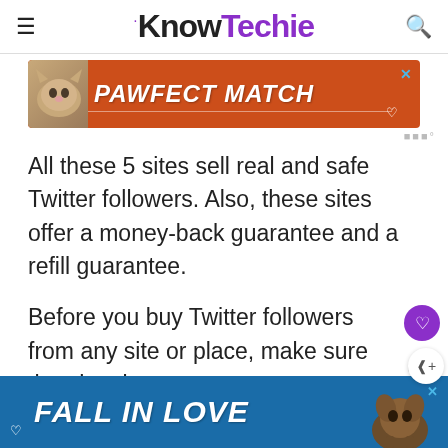KnowTechie
[Figure (infographic): PAWFECT MATCH advertisement banner with orange background and cat image]
All these 5 sites sell real and safe Twitter followers. Also, these sites offer a money-back guarantee and a refill guarantee.
Before you buy Twitter followers from any site or place, make sure that the site yo... an
[Figure (infographic): FALL IN LOVE advertisement banner with blue background and dog image]